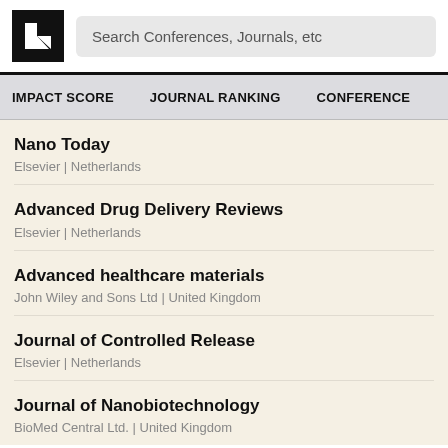Search Conferences, Journals, etc
IMPACT SCORE  JOURNAL RANKING  CONFERENCE
Nano Today
Elsevier | Netherlands
Advanced Drug Delivery Reviews
Elsevier | Netherlands
Advanced healthcare materials
John Wiley and Sons Ltd | United Kingdom
Journal of Controlled Release
Elsevier | Netherlands
Journal of Nanobiotechnology
BioMed Central Ltd. | United Kingdom